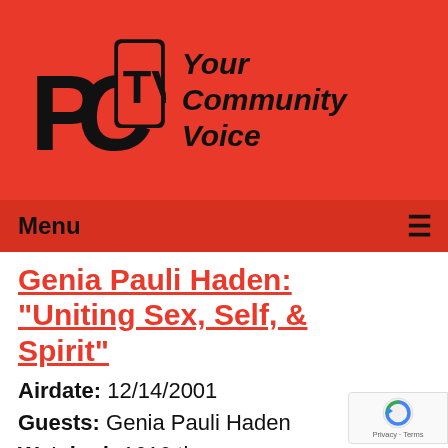[Figure (logo): PCTV logo with TV screen icon and tagline 'Your Community Voice' on red background]
Menu ≡
Genia Pauli Haden: "Uniting Sex, Self, & Spirit"
Airdate: 12/14/2001
Guests: Genia Pauli Haden
Watched: 1616 times